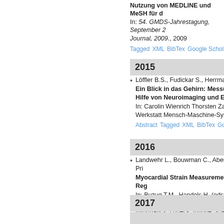Nutzung von MEDLINE und MESH für d... In: 54. GMDS-Jahrestagung, September 2... Journal, 2009., 2009
Tagged XML BibTex Google Scholar
2015
Löffler B.S., Fudickar S., Herrmann C.S., H... Ein Blick in das Gehirn: Messung und V... Hilfe von Neuroimaging und Elektrostim... In: Carolin Wienrich Thorsten Zander K.G. Werkstatt Mensch-Maschine-Systeme, Un...
Abstract Tagged XML BibTex Google Scholar DO...
2016
Landwehr L., Bouwman C., Aben J.P., Pri... Myocardial Strain Measurement – A Reg... In: Buzug T.M., Handels H. (eds.), Student... Informatics, Lübeck, Infinite Science Publi...
Tagged XML BibTex Google Scholar
2017
Lucas C., Maier O., Heinrich M.P. Shallow fully-connected neural networke... In: Maier-Hein K.H., Deserno T.M., Handel... Heidelberg, Informatik aktuell, Springer Vie...
Tagged XML BibTex Google Scholar DOI